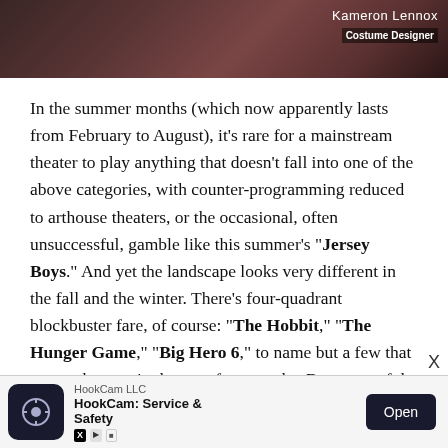[Figure (photo): Partial image at top of page showing a person, with text overlay 'Kameron Lennox' and label 'Costume Designer' in the upper right corner]
In the summer months (which now apparently lasts from February to August), it’s rare for a mainstream theater to play anything that doesn’t fall into one of the above categories, with counter-programming reduced to arthouse theaters, or the occasional, often unsuccessful, gamble like this summer’s “Jersey Boys.” And yet the landscape looks very different in the fall and the winter. There’s four-quadrant blockbuster fare, of course: “The Hobbit,” “The Hunger Game,” “Big Hero 6,” to name but a few that are on the way in the next few months. But some of the most high-profile studio movies to come in the next few months are a David Fincher adaptation of a bleak, complex thriller, a World War II POW drama with a mostly unknow
[Figure (other): HookCam LLC advertisement banner with app icon, text 'HookCam: Service & Safety', and Open button]